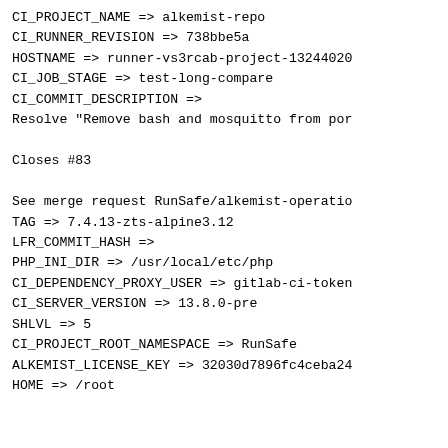CI_PROJECT_NAME => alkemist-repo
CI_RUNNER_REVISION => 738bbe5a
HOSTNAME => runner-vs3rcab-project-13244020
CI_JOB_STAGE => test-long-compare
CI_COMMIT_DESCRIPTION =>
Resolve "Remove bash and mosquitto from por

Closes #83

See merge request RunSafe/alkemist-operatio
TAG => 7.4.13-zts-alpine3.12
LFR_COMMIT_HASH =>
PHP_INI_DIR => /usr/local/etc/php
CI_DEPENDENCY_PROXY_USER => gitlab-ci-token
CI_SERVER_VERSION => 13.8.0-pre
SHLVL => 5
CI_PROJECT_ROOT_NAMESPACE => RunSafe
ALKEMIST_LICENSE_KEY => 32030d7896fc4ceba24
HOME => /root